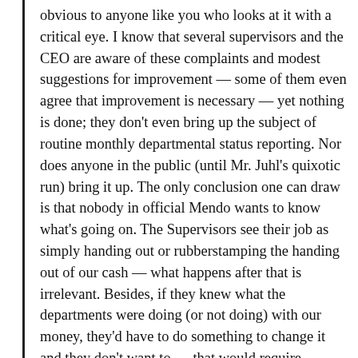obvious to anyone like you who looks at it with a critical eye. I know that several supervisors and the CEO are aware of these complaints and modest suggestions for improvement — some of them even agree that improvement is necessary — yet nothing is done; they don't even bring up the subject of routine monthly departmental status reporting. Nor does anyone in the public (until Mr. Juhl's quixotic run) bring it up. The only conclusion one can draw is that nobody in official Mendo wants to know what's going on. The Supervisors see their job as simply handing out or rubberstamping the handing out of our cash — what happens after that is irrelevant. Besides, if they knew what the departments were doing (or not doing) with our money, they'd have to do something to change it and they don't want to — that would require conflict and work. Another lesser factor is the ridiculous